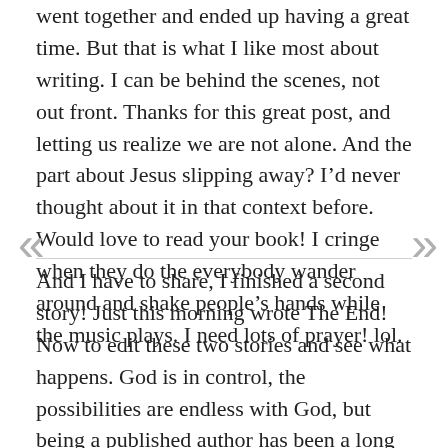went together and ended up having a great time. But that is what I like most about writing. I can be behind the scenes, not out front. Thanks for this great post, and letting us realize we are not alone. And the part about Jesus slipping away? I'd never thought about it in that context before. Would love to read your book! I cringe when they do the everybody wander around and shake people's hands while the music plays. I need lots of prayer! lol.
And I have to share, I finished a second story! Just this morning wrote The End! Now to edit these two stories and see what happens. God is in control, the possibilities are endless with God, but being a published author has been a long time dream. These are His words and He'll find a home for them when